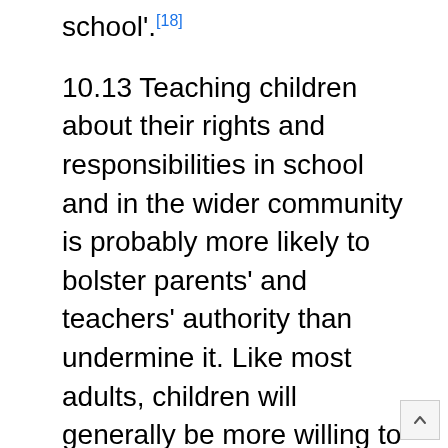school'.[18]
10.13 Teaching children about their rights and responsibilities in school and in the wider community is probably more likely to bolster parents' and teachers' authority than undermine it. Like most adults, children will generally be more willing to follow rules they understand and can see the need for.
10.14 The Inquiry considers that guidelines on national best practice